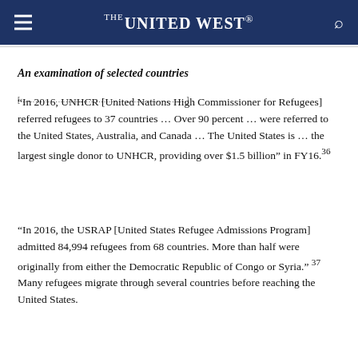THE UNITED WEST
An examination of selected countries
“In 2016, UNHCR [United Nations High Commissioner for Refugees] referred refugees to 37 countries … Over 90 percent … were referred to the United States, Australia, and Canada … The United States is … the largest single donor to UNHCR, providing over $1.5 billion” in FY16.36
“In 2016, the USRAP [United States Refugee Admissions Program] admitted 84,994 refugees from 68 countries. More than half were originally from either the Democratic Republic of Congo or Syria.” 37 Many refugees migrate through several countries before reaching the United States.